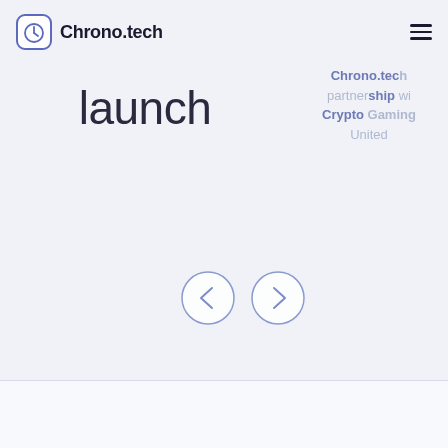Chrono.tech
launch
Chrono.tech partnership with Crypto Gaming United
[Figure (illustration): Navigation carousel buttons: left arrow and right arrow inside circles]